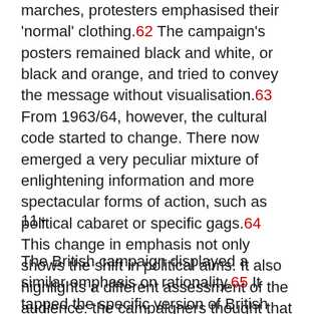marches, protesters emphasised their 'normal' clothing.62 The campaign's posters remained black and white, or black and orange, and tried to convey the message without visualisation.63 From 1963/64, however, the cultural code started to change. There now emerged a very peculiar mixture of enlightening information and more spectacular forms of action, such as political cabaret or specific gags.64 This change in emphasis not only shows the shift in political aims. It also highlights a different assessment of the audience: the campaigners thought that these new means of campaigning would allow them to reach their audience best.
11
The British campaign displayed a similar emphasis on rationality.65 It tapped the specific version of British national identity which had emerged in